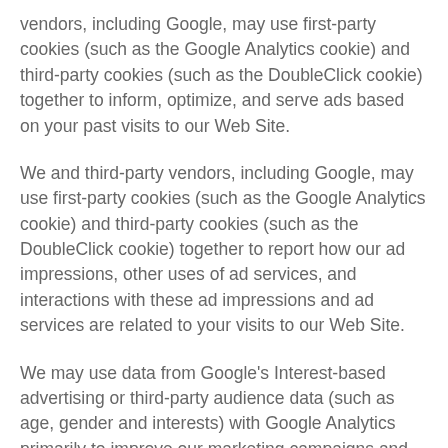vendors, including Google, may use first-party cookies (such as the Google Analytics cookie) and third-party cookies (such as the DoubleClick cookie) together to inform, optimize, and serve ads based on your past visits to our Web Site.
We and third-party vendors, including Google, may use first-party cookies (such as the Google Analytics cookie) and third-party cookies (such as the DoubleClick cookie) together to report how our ad impressions, other uses of ad services, and interactions with these ad impressions and ad services are related to your visits to our Web Site.
We may use data from Google's Interest-based advertising or third-party audience data (such as age, gender and interests) with Google Analytics primarily to improve our marketing campaigns and this Web Site's content.
For more details on how AmerisourceBergen uses Google Analytics to collect and process data, please visit Google